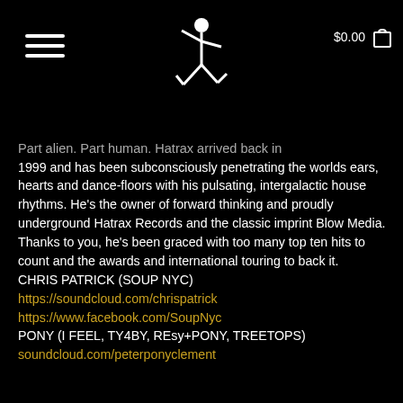☰  [logo]  $0.00 🛒
Part alien. Part human. Hatrax arrived back in 1999 and has been subconsciously penetrating the worlds ears, hearts and dance-floors with his pulsating, intergalactic house rhythms. He's the owner of forward thinking and proudly underground Hatrax Records and the classic imprint Blow Media. Thanks to you, he's been graced with too many top ten hits to count and the awards and international touring to back it. CHRIS PATRICK (SOUP NYC) https://soundcloud.com/chrispatrick https://www.facebook.com/SoupNyc PONY (I FEEL, TY4BY, REsy+PONY, TREETOPS) soundcloud.com/peterponyclement